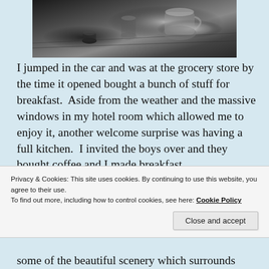[Figure (photo): Black and white overhead photo of coffee items on a wooden tray — a small cup, glass vessels, and a metal kettle/pitcher]
I jumped in the car and was at the grocery store by the time it opened bought a bunch of stuff for breakfast.  Aside from the weather and the massive windows in my hotel room which allowed me to enjoy it, another welcome surprise was having a full kitchen.  I invited the boys over and they bought coffee and I made breakfast
Privacy & Cookies: This site uses cookies. By continuing to use this website, you agree to their use.
To find out more, including how to control cookies, see here: Cookie Policy
Close and accept
some of the beautiful scenery which surrounds